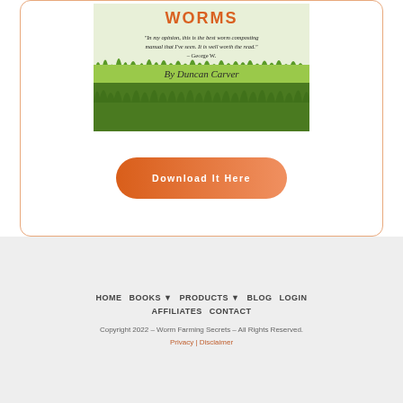[Figure (illustration): Worm composting book cover showing green grass background with quote text 'In my opinion, this is the best worm composting manual that I've seen. It is well worth the read.' - George W. and green banner reading 'By Duncan Carver']
[Figure (other): Orange gradient rounded rectangle button labeled 'Download It Here']
HOME  BOOKS  PRODUCTS  BLOG  LOGIN  AFFILIATES  CONTACT  Copyright 2022 – Worm Farming Secrets – All Rights Reserved. Privacy | Disclaimer